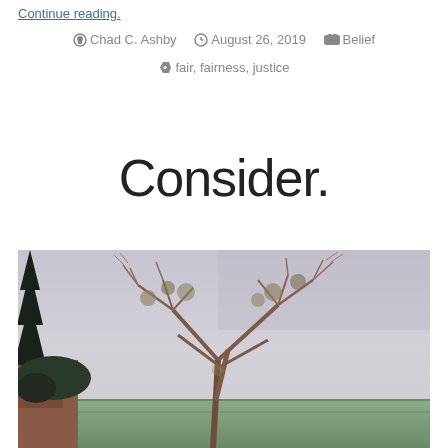Continue reading.
By Chad C. Ashby  August 26, 2019  Belief
fair, fairness, justice
Consider.
[Figure (photo): Outdoor scene showing a large bare tree with spreading branches against a grey-purple overcast sky, with a tall dark evergreen tree on the left, a building with red walls partially visible at lower left, green foliage, and a green-tiled rooftop at the bottom right.]